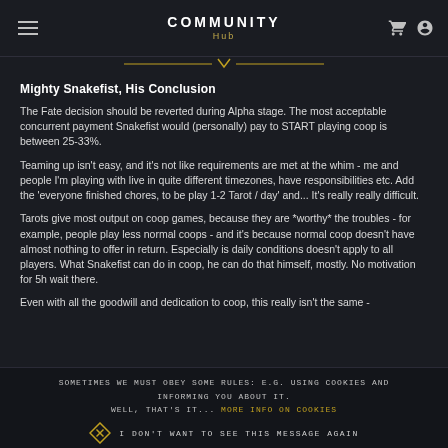COMMUNITY Hub
Mighty Snakefist, His Conclusion
The Fate decision should be reverted during Alpha stage. The most acceptable concurrent payment Snakefist would (personally) pay to START playing coop is between 25-33%.
Teaming up isn't easy, and it's not like requirements are met at the whim - me and people I'm playing with live in quite different timezones, have responsibilities etc. Add the 'everyone finished chores, to be play 1-2 Tarot / day' and... It's really really difficult.
Tarots give most output on coop games, because they are *worthy* the troubles - for example, people play less normal coops - and it's because normal coop doesn't have almost nothing to offer in return. Especially is daily conditions doesn't apply to all players. What Snakefist can do in coop, he can do that himself, mostly. No motivation for 5h wait there.
Even with all the goodwill and dedication to coop, this really isn't the same -
Sometimes we must obey some rules: e.g. using cookies and informing you about it.
Well, that's it... More info on cookies
I don't want to see this message again